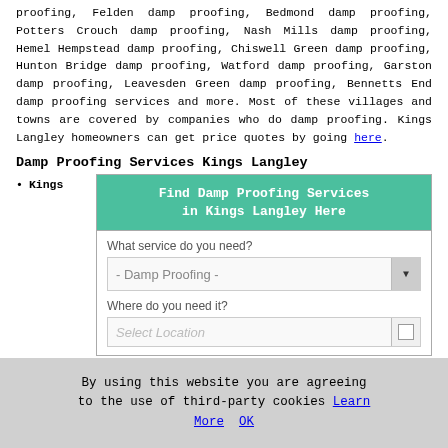proofing, Felden damp proofing, Bedmond damp proofing, Potters Crouch damp proofing, Nash Mills damp proofing, Hemel Hempstead damp proofing, Chiswell Green damp proofing, Hunton Bridge damp proofing, Watford damp proofing, Garston damp proofing, Leavesden Green damp proofing, Bennetts End damp proofing services and more. Most of these villages and towns are covered by companies who do damp proofing. Kings Langley homeowners can get price quotes by going here.
Damp Proofing Services Kings Langley
Kings
[Figure (screenshot): A web widget box for finding damp proofing services in Kings Langley. Contains a teal header reading 'Find Damp Proofing Services in Kings Langley Here', a dropdown showing '- Damp Proofing -', a label 'What service do you need?', a label 'Where do you need it?', and a partial location selector showing 'Select Location'.]
By using this website you are agreeing to the use of third-party cookies Learn More OK